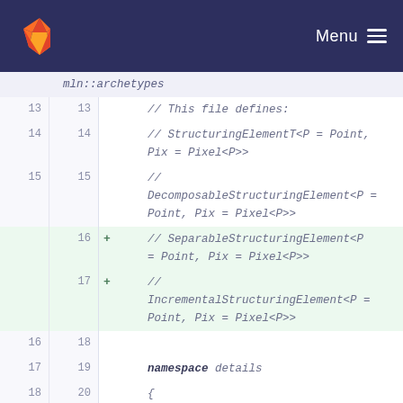Menu
mln::archetypes
13  13    // This file defines:
14  14    // StructuringElementT<P = Point, Pix = Pixel<P>>
15  15    // DecomposableStructuringElement<P = Point, Pix = Pixel<P>>
16  +   // SeparableStructuringElement<P = Point, Pix = Pixel<P>>
17  +   // IncrementalStructuringElement<P = Point, Pix = Pixel<P>>
16  18   
17  19    namespace details
18  20    {
19  21   
20  22    template <class P, class Pix>
21  23  + // clang-format off
21  24    #ifdef PYLENE_CONCEPT_TS_ENABLED
22  25    requires